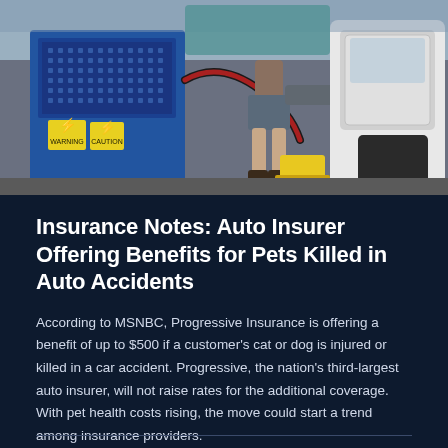[Figure (photo): Auto repair shop scene showing a worker in shorts and boots using pneumatic equipment next to a large blue industrial machine with yellow warning labels, alongside a white vehicle being repaired]
Insurance Notes: Auto Insurer Offering Benefits for Pets Killed in Auto Accidents
According to MSNBC, Progressive Insurance is offering a benefit of up to $500 if a customer's cat or dog is injured or killed in a car accident. Progressive, the nation's third-largest auto insurer, will not raise rates for the additional coverage. With pet health costs rising, the move could start a trend among insurance providers.
by BenMillerJones    October 31, 2007